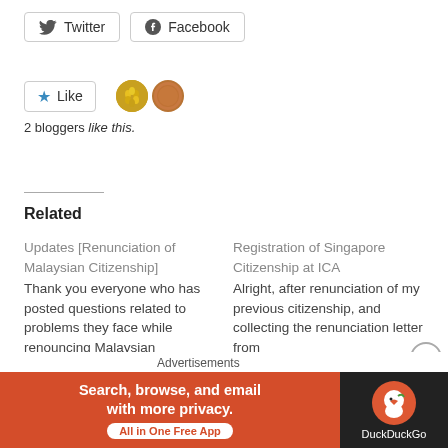[Figure (other): Twitter and Facebook share buttons]
[Figure (other): Like button with 2 blogger avatar images (corn/gold and penny/copper coin)]
2 bloggers like this.
Related
Updates [Renunciation of Malaysian Citizenship] Thank you everyone who has posted questions related to problems they face while renouncing Malaysian Citizenship, as
July 10, 2020
In "Guide"
Registration of Singapore Citizenship at ICA
Alright, after renunciation of my previous citizenship, and collecting the renunciation letter from
November 28, 2019
In "Guide"
Advertisements
[Figure (other): DuckDuckGo advertisement banner: orange left section with text 'Search, browse, and email with more privacy. All in One Free App' and dark right section with DuckDuckGo logo]